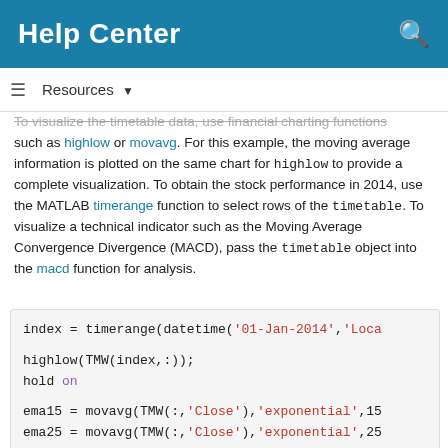Help Center
Resources ▼
To visualize the timetable data, use financial charting functions such as highlow or movavg. For this example, the moving average information is plotted on the same chart for highlow to provide a complete visualization. To obtain the stock performance in 2014, use the MATLAB timerange function to select rows of the timetable. To visualize a technical indicator such as the Moving Average Convergence Divergence (MACD), pass the timetable object into the macd function for analysis.
[Figure (screenshot): MATLAB code block showing: index = timerange(datetime('01-Jan-2014','Loca...; highlow(TMW(index,:)); hold on; ema15 = movavg(TMW(:,'Close'),'exponential',15; ema25 = movavg(TMW(:,'Close'),'exponential',25; ema15 = ema15(index,:); ema25 = ema25(index,:); plot(ema15.Time,ema15.Close,...)]